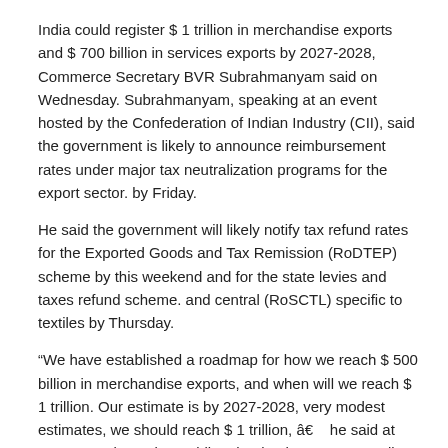India could register $ 1 trillion in merchandise exports and $ 700 billion in services exports by 2027-2028, Commerce Secretary BVR Subrahmanyam said on Wednesday. Subrahmanyam, speaking at an event hosted by the Confederation of Indian Industry (CII), said the government is likely to announce reimbursement rates under major tax neutralization programs for the export sector. by Friday.
He said the government will likely notify tax refund rates for the Exported Goods and Tax Remission (RoDTEP) scheme by this weekend and for the state levies and taxes refund scheme. and central (RoSCTL) specific to textiles by Thursday.
“We have established a roadmap for how we reach $ 500 billion in merchandise exports, and when will we reach $ 1 trillion. Our estimate is by 2027-2028, very modest estimates, we should reach $ 1 trillion, â€    he said at CII’s annual meeting, adding that by then 20-30% India’s economy would consist of trade, similar to advanced export-based economies. like Japan, EU and United States.